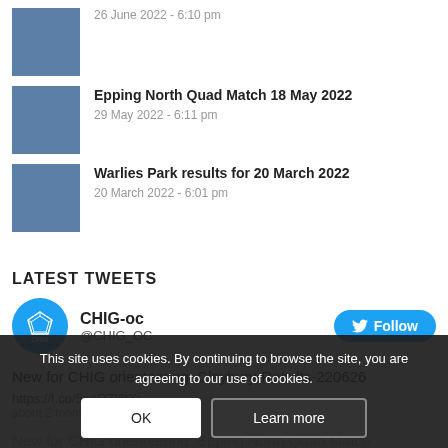26 June 2022 - 6:10 pm
Epping North Quad Match 18 May 2022
29 May 2022 - 6:11 pm
Warlies Park results for 20 March 2022
20 March 2022 - 6:01 pm
LATEST TWEETS
CHIG-oc @CHIG_OC
New for CHIG orienteering: Claybury-Results-220626
https://t.co/5pgR7I6tXi
about 2 months ago
New for CHIG orienteering: Epping North Quad Match 18 May 2022 https://t.co/dbepKDB67W
This site uses cookies. By continuing to browse the site, you are agreeing to our use of cookies.